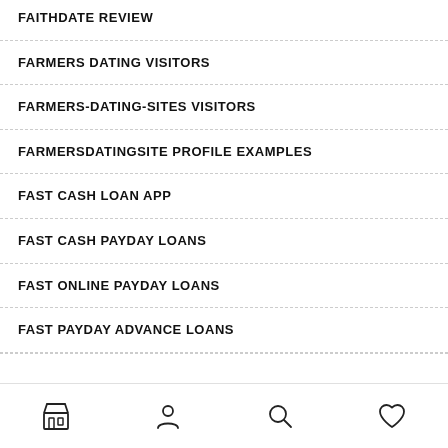FAITHDATE REVIEW
FARMERS DATING VISITORS
FARMERS-DATING-SITES VISITORS
FARMERSDATINGSITE PROFILE EXAMPLES
FAST CASH LOAN APP
FAST CASH PAYDAY LOANS
FAST ONLINE PAYDAY LOANS
FAST PAYDAY ADVANCE LOANS